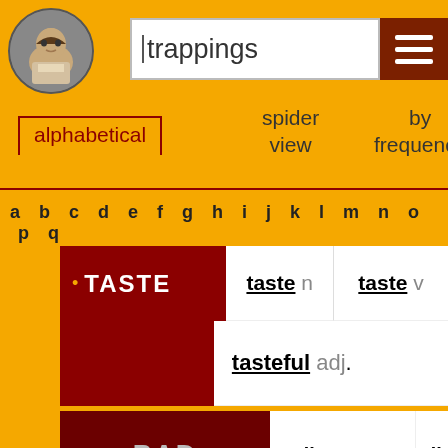[Figure (illustration): Shakespeare portrait in circular frame]
trappings
[Figure (other): Menu/hamburger button icon in dark red]
alphabetical
spider view
by frequency by
a b c d e f g h i j k l m n o p q
|  | taste n | taste v |
| --- | --- | --- |
| TASTE | taste n | taste v |
|  | tasteful adj. |  |
| BAD | distaste v | distasteful |
BAD